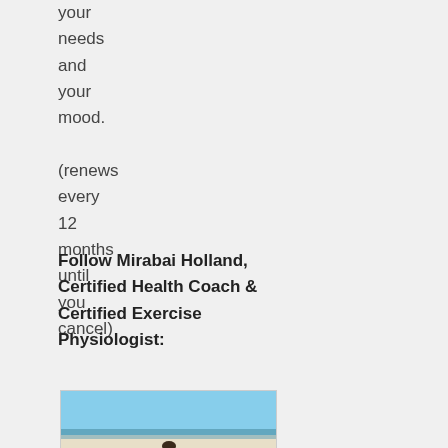your needs and your mood.

(renews every 12 months until you cancel)
Follow Mirabai Holland, Certified Health Coach & Certified Exercise Physiologist:
[Figure (photo): Photo of a person (Mirabai Holland) exercising on a beach, wearing a bright green/yellow top, with arms outstretched, ocean and sky in background]